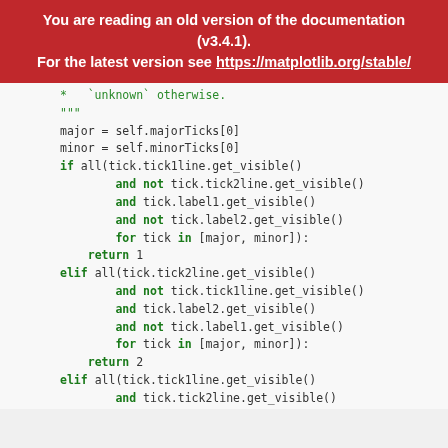You are reading an old version of the documentation (v3.4.1). For the latest version see https://matplotlib.org/stable/
* `unknown` otherwise.
"""
major = self.majorTicks[0]
minor = self.minorTicks[0]
if all(tick.tick1line.get_visible()
        and not tick.tick2line.get_visible()
        and tick.label1.get_visible()
        and not tick.label2.get_visible()
        for tick in [major, minor]):
    return 1
elif all(tick.tick2line.get_visible()
        and not tick.tick1line.get_visible()
        and tick.label2.get_visible()
        and not tick.label1.get_visible()
        for tick in [major, minor]):
    return 2
elif all(tick.tick1line.get_visible()
        and tick.tick2line.get_visible()
        and tick.label1.get_visible()
        and not tick.label2.get_visible()
        for tick in [major, minor]):
    return "default"
else: